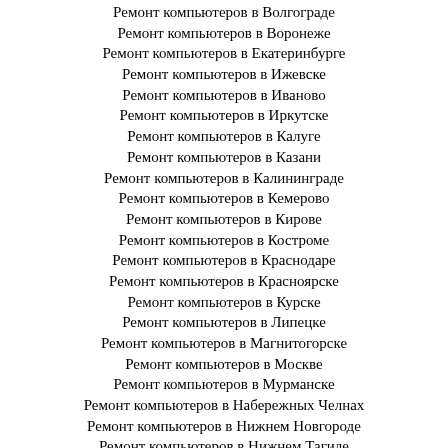Ремонт компьютеров в Волгограде
Ремонт компьютеров в Воронеже
Ремонт компьютеров в Екатеринбурге
Ремонт компьютеров в Ижевске
Ремонт компьютеров в Иваново
Ремонт компьютеров в Иркутске
Ремонт компьютеров в Калуге
Ремонт компьютеров в Казани
Ремонт компьютеров в Калининграде
Ремонт компьютеров в Кемерово
Ремонт компьютеров в Кирове
Ремонт компьютеров в Костроме
Ремонт компьютеров в Краснодаре
Ремонт компьютеров в Красноярске
Ремонт компьютеров в Курске
Ремонт компьютеров в Липецке
Ремонт компьютеров в Магнитогорске
Ремонт компьютеров в Москве
Ремонт компьютеров в Мурманске
Ремонт компьютеров в Набережных Челнах
Ремонт компьютеров в Нижнем Новгороде
Ремонт компьютеров в Нижнем Тагиле
Ремонт компьютеров в Новокузнецке
Ремонт компьютеров в Новосибирске
Ремонт компьютеров в Омске